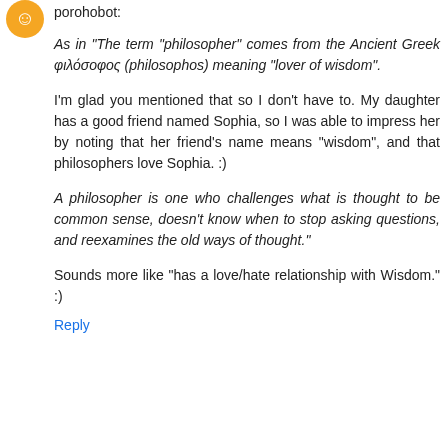[Figure (illustration): Orange circular avatar icon in top left corner]
porohobot:
As in "The term "philosopher" comes from the Ancient Greek φιλόσοφος (philosophos) meaning "lover of wisdom".
I'm glad you mentioned that so I don't have to. My daughter has a good friend named Sophia, so I was able to impress her by noting that her friend's name means "wisdom", and that philosophers love Sophia. :)
A philosopher is one who challenges what is thought to be common sense, doesn't know when to stop asking questions, and reexamines the old ways of thought."
Sounds more like "has a love/hate relationship with Wisdom." :)
Reply